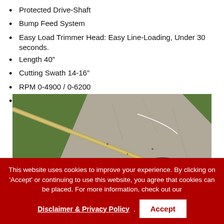Protected Drive-Shaft
Bump Feed System
Easy Load Trimmer Head: Easy Line-Loading, Under 30 seconds.
Length 40"
Cutting Swath 14-16"
RPM 0-4900 / 0-6200
Weight 3.75 lbs.
[Figure (photo): Close-up photo of a string trimmer head resting on a concrete sidewalk edge next to grass]
This website uses cookies to improve your experience. By clicking on 'Accept' or continuing to use this website, you agree that cookies can be placed. For more information, check out our Disclaimer & Privacy Policy . Accept